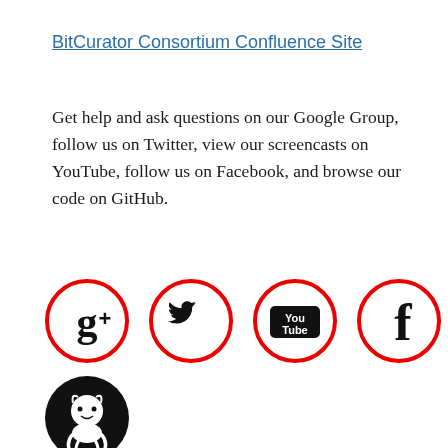BitCurator Consortium Confluence Site
Get help and ask questions on our Google Group, follow us on Twitter, view our screencasts on YouTube, follow us on Facebook, and browse our code on GitHub.
[Figure (illustration): Four social media icons in a row with red circular borders: Google+, Twitter, YouTube, and Facebook logos. Below that row, a GitHub icon (black circle with octocat logo).]